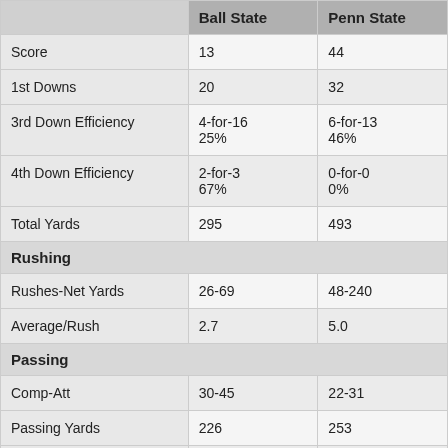|  | Ball State | Penn State |
| --- | --- | --- |
| Score | 13 | 44 |
| 1st Downs | 20 | 32 |
| 3rd Down Efficiency | 4-for-16
25% | 6-for-13
46% |
| 4th Down Efficiency | 2-for-3
67% | 0-for-0
0% |
| Total Yards | 295 | 493 |
| Rushing |  |  |
| Rushes-Net Yards | 26-69 | 48-240 |
| Average/Rush | 2.7 | 5.0 |
| Passing |  |  |
| Comp-Att | 30-45 | 22-31 |
| Passing Yards | 226 | 253 |
| Average/Pass Play | 4.9 | 7.4 |